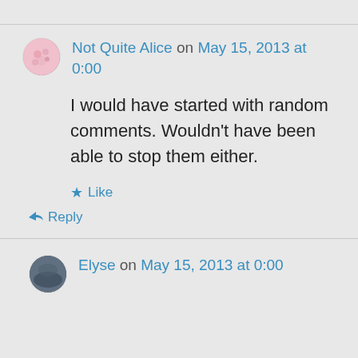Not Quite Alice on May 15, 2013 at 0:00
I would have started with random comments. Wouldn't have been able to stop them either.
Like
Reply
Elyse on May 15, 2013 at 0:00